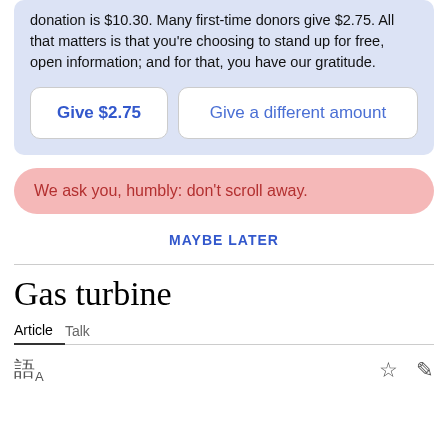donation is $10.30. Many first-time donors give $2.75. All that matters is that you're choosing to stand up for free, open information; and for that, you have our gratitude.
Give $2.75
Give a different amount
We ask you, humbly: don't scroll away.
MAYBE LATER
Gas turbine
Article   Talk